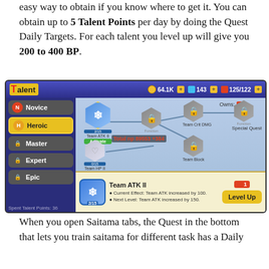easy way to obtain if you know where to get it. You can obtain up to 5 Talent Points per day by doing the Quest Daily Targets. For each talent you level up will give you 200 to 400 BP.
[Figure (screenshot): In-game screenshot of the Talent system screen from a mobile game. Shows a talent tree with nodes: Team ATK II (2/15, Heroic tier, active), Team Crit DMG (locked), Special Quest (locked), Team HP II (0/15, locked), Team Block (locked). Left panel shows tiers: Novice, Heroic (selected), Master, Expert, Epic. Bottom info panel shows Team ATK II details with Level Up button. Currency display shows 64.1K coins, 143 gems, 125/122 tickets.]
When you open Saitama tabs, the Quest in the bottom that lets you train saitama for different task has a Daily